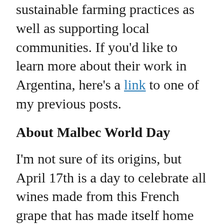sustainable farming practices as well as supporting local communities. If you'd like to learn more about their work in Argentina, here's a link to one of my previous posts.
About Malbec World Day
I'm not sure of its origins, but April 17th is a day to celebrate all wines made from this French grape that has made itself home in vineyards throughout the world. Would you like to participate in the festivities?
Despite social distancing rules in place